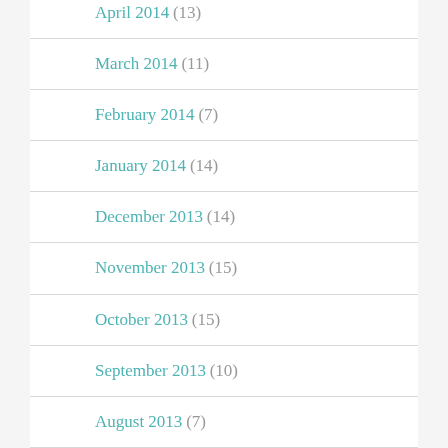April 2014 (13)
March 2014 (11)
February 2014 (7)
January 2014 (14)
December 2013 (14)
November 2013 (15)
October 2013 (15)
September 2013 (10)
August 2013 (7)
July 2013 (12)
June 2013 (13)